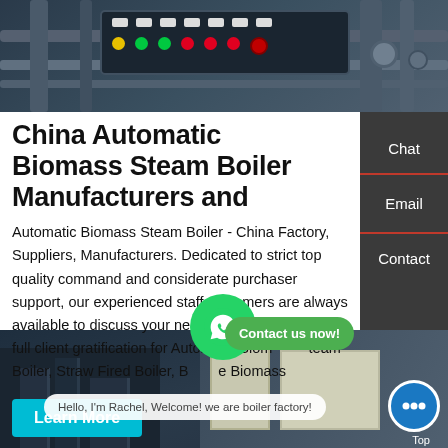[Figure (photo): Industrial boiler machinery with control panel showing indicator lights (white, yellow, green, red, orange), pipes and valves in industrial setting]
China Automatic Biomass Steam Boiler Manufacturers and
Automatic Biomass Steam Boiler - China Factory, Suppliers, Manufacturers. Dedicated to strict top quality command and considerate purchaser support, our experienced staff customers are always available to discuss your necessities and be certain full client gratification for Automatic Biomass Steam Boiler, Straw Fired Boiler, Biomass
[Figure (screenshot): Bottom industrial boiler facility photo with chat interface showing 'Hello, I'm Rachel, Welcome! we are boiler factory!' message bubble and chat avatar with ellipsis icon, plus Top navigation label]